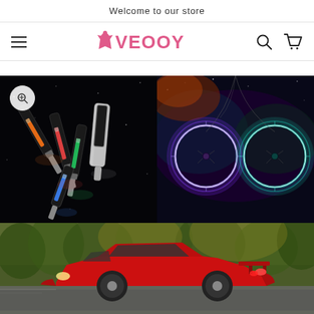Welcome to our store
[Figure (logo): VEOOY store logo with pink dress icon and pink bold text VEOOY, with hamburger menu icon on left and search/cart icons on right]
[Figure (photo): Product gallery showing colorful LED vape/pen lights on black background (left), glowing bicycle wheels with teal/purple light on dark nebula background (right), and a red sports car driving on a road (bottom)]